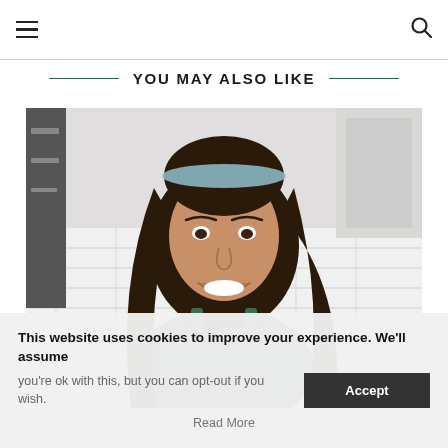[hamburger menu icon] [search icon]
YOU MAY ALSO LIKE
[Figure (photo): Smiling woman with long dark hair and a blue headband, wearing a dark green tank top, standing in a white kitchen with subway tile backsplash and knives visible]
This website uses cookies to improve your experience. We'll assume you're ok with this, but you can opt-out if you wish.
Accept
Read More